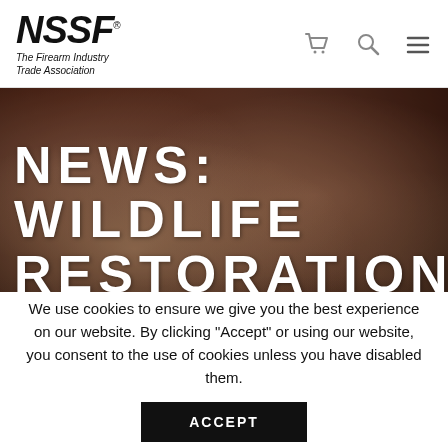NSSF The Firearm Industry Trade Association
[Figure (photo): Close-up blurred photo of hands, dark warm tones, serving as hero background image]
NEWS: WILDLIFE RESTORATION TRUST FUND
We use cookies to ensure we give you the best experience on our website. By clicking "Accept" or using our website, you consent to the use of cookies unless you have disabled them.
ACCEPT